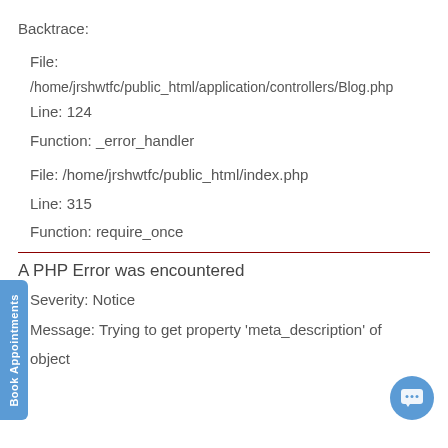Backtrace:
File:
/home/jrshwtfc/public_html/application/controllers/Blog.php
Line: 124
Function: _error_handler
File: /home/jrshwtfc/public_html/index.php
Line: 315
Function: require_once
A PHP Error was encountered
Severity: Notice
Message: Trying to get property 'meta_description' of non-null object